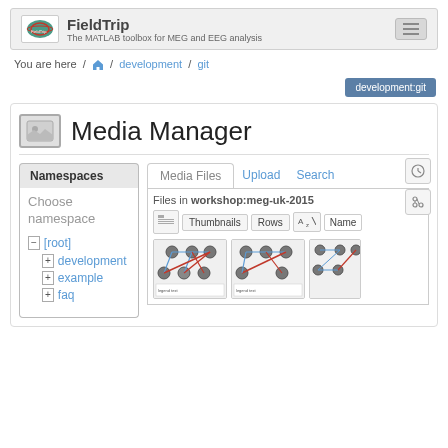FieldTrip — The MATLAB toolbox for MEG and EEG analysis
You are here / home / development / git
development:git
Media Manager
Namespaces
Choose namespace
- [root]
+ development
+ example
+ faq
Media Files | Upload | Search
Files in workshop:meg-uk-2015
Thumbnails  Rows  Name
[Figure (screenshot): Thumbnails of files in workshop:meg-uk-2015 namespace showing network/graph diagrams]